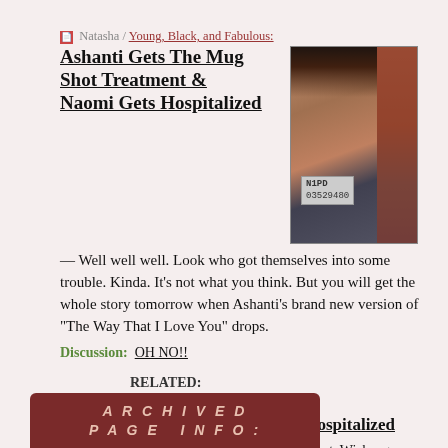📄 Natasha / Young, Black, and Fabulous:
Ashanti Gets The Mug Shot Treatment & Naomi Gets Hospitalized
[Figure (photo): Mug shot photo of Ashanti holding NYPD placard number 03529480]
— Well well well. Look who got themselves into some trouble. Kinda. It's not what you think. But you will get the whole story tomorrow when Ashanti's brand new version of "The Way That I Love You" drops.
Discussion: OH NO!!
RELATED:
📄 Associated Press:
Model Naomi Campbell hospitalized
Discussion: Gawker, WOW Report, Wizbang Pop!, New York Magazine and GHETTOFABULOUS
[Figure (other): Archived Page Info banner in dark red/brown]